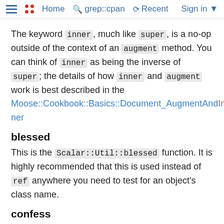Home   grep::cpan   Recent   Sign in
The keyword inner, much like super, is a no-op outside of the context of an augment method. You can think of inner as being the inverse of super; the details of how inner and augment work is best described in the Moose::Cookbook::Basics::Document_AugmentAndInner
blessed
This is the Scalar::Util::blessed function. It is highly recommended that this is used instead of ref anywhere you need to test for an object's class name.
confess
This is the Carp::confess function, and exported here for historical reasons.